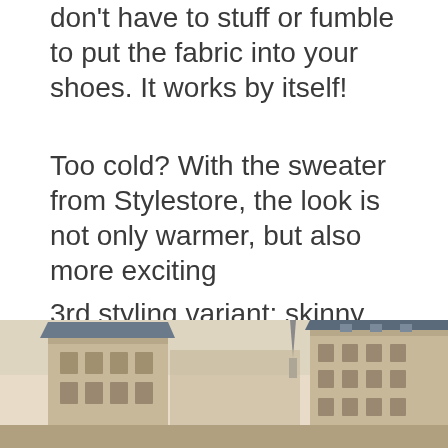don't have to stuff or fumble to put the fabric into your shoes. It works by itself!
Too cold? With the sweater from Stylestore, the look is not only warmer, but also more exciting
3rd styling variant: skinny jeans with faux fur jacket and platform boots
[Figure (photo): Street scene with Haussmann-style Parisian buildings, beige facades, slate roofs, and a church spire visible in the background under a pale sky.]